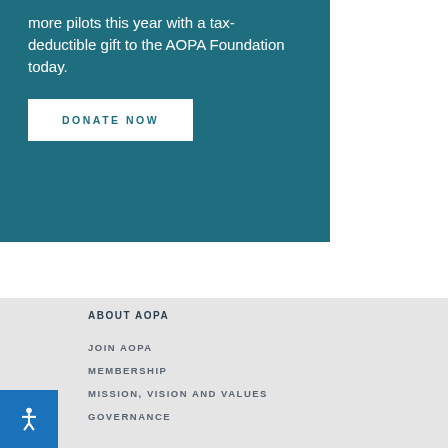more pilots this year with a tax-deductible gift to the AOPA Foundation today.
DONATE NOW
ABOUT AOPA
JOIN AOPA
MEMBERSHIP
MISSION, VISION AND VALUES
GOVERNANCE
JOIN THE AOPA TEAM
AOPA PARTNERS